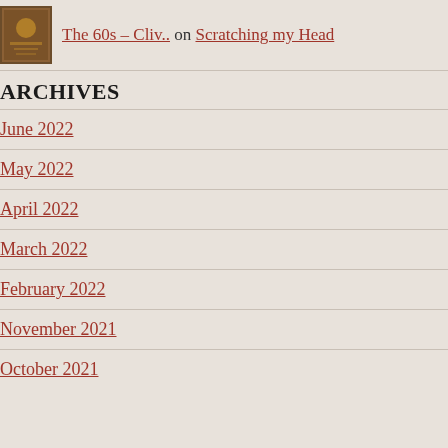The 60s – Cliv.. on Scratching my Head
ARCHIVES
June 2022
May 2022
April 2022
March 2022
February 2022
November 2021
October 2021